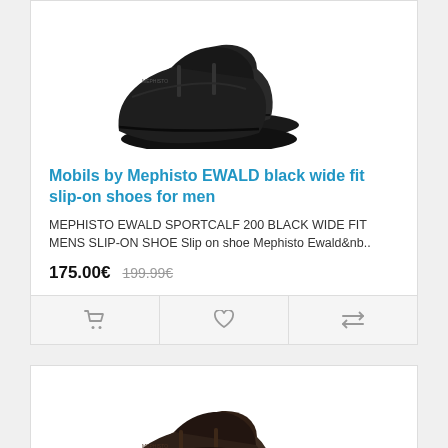[Figure (photo): Black slip-on shoes for men (Mephisto Ewald), pair shown on white background]
Mobils by Mephisto EWALD black wide fit slip-on shoes for men
MEPHISTO EWALD SPORTCALF 200 BLACK WIDE FIT MENS SLIP-ON SHOE Slip on shoe Mephisto Ewald&nb..
175.00€  199.99€
[Figure (photo): Dark brown/black slip-on shoes for men (Mephisto), pair shown on white background]